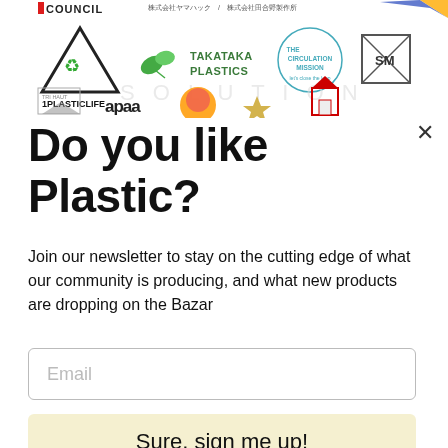[Figure (screenshot): Banner row of sponsor/partner logos including 1PLASTICLIFE, TAKATAKA PLASTICS, THE CIRCULATION MISSION, and others including Japanese company logos, tri-haut, apaa, and more colorful brand marks]
Do you like Plastic?
Join our newsletter to stay on the cutting edge of what our community is producing, and what new products are dropping on the Bazar
Email
Sure, sign me up!